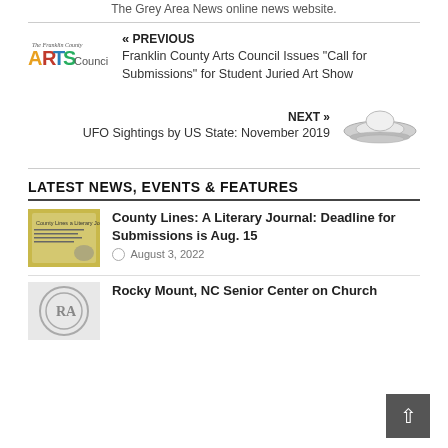The Grey Area News online news website.
« PREVIOUS
Franklin County Arts Council Issues "Call for Submissions" for Student Juried Art Show
NEXT »
UFO Sightings by US State: November 2019
LATEST NEWS, EVENTS & FEATURES
County Lines: A Literary Journal: Deadline for Submissions is Aug. 15
August 3, 2022
Rocky Mount, NC Senior Center on Church